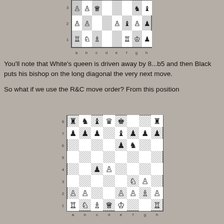[Figure (other): Chess board diagram showing position with ranks 1-3 visible, labeled a-h]
You'll note that White's queen is driven away by 8...b5 and then Black puts his bishop on the long diagonal the very next move.
So what if we use the R&C move order? From this position
[Figure (other): Chess board diagram showing full 8x8 position with pieces, ranked 1-8 and filed a-h]